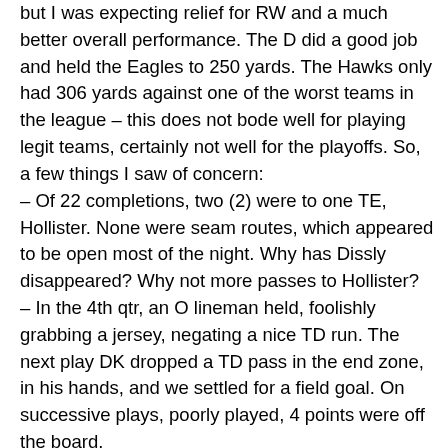but I was expecting relief for RW and a much better overall performance. The D did a good job and held the Eagles to 250 yards. The Hawks only had 306 yards against one of the worst teams in the league – this does not bode well for playing legit teams, certainly not well for the playoffs. So, a few things I saw of concern: – Of 22 completions, two (2) were to one TE, Hollister. None were seam routes, which appeared to be open most of the night. Why has Dissly disappeared? Why not more passes to Hollister? – In the 4th qtr, an O lineman held, foolishly grabbing a jersey, negating a nice TD run. The next play DK dropped a TD pass in the end zone, in his hands, and we settled for a field goal. On successive plays, poorly played, 4 points were off the board. – Granted the Hail Mary pass was with a few